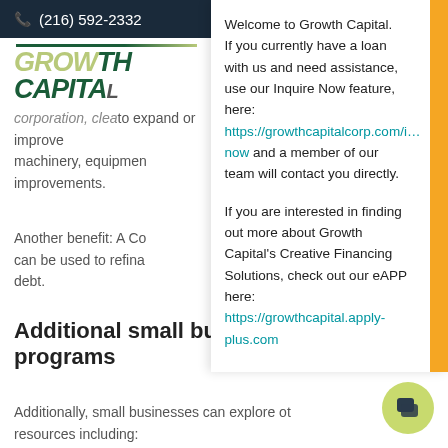(216) 592-2332
[Figure (logo): Growth Capital Corporation logo with stylized text and green swoosh line]
to expand or improve machinery, equipment, improvements.
Another benefit: A Co can be used to refinance debt.
Additional small business loan programs
Additionally, small businesses can explore other resources including:
Welcome to Growth Capital. If you currently have a loan with us and need assistance, use our Inquire Now feature, here: https://growthcapitalcorp.com/i… now and a member of our team will contact you directly.
If you are interested in finding out more about Growth Capital's Creative Financing Solutions, check out our eAPP here: https://growthcapital.apply-plus.com